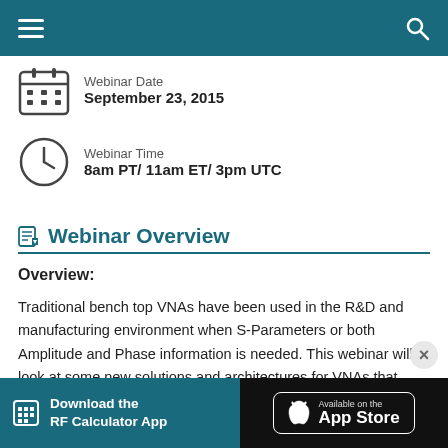Navigation bar with hamburger menu and search icon
Webinar Date
September 23, 2015
Webinar Time
8am PT/ 11am ET/ 3pm UTC
Webinar Overview
Overview:
Traditional bench top VNAs have been used in the R&D and manufacturing environment when S-Parameters or both Amplitude and Phase information is needed. This webinar will look at some new solutions and architectures for VNAs that have the net effect of
[Figure (infographic): Download the RF Calculator App - Available on the App Store banner advertisement]